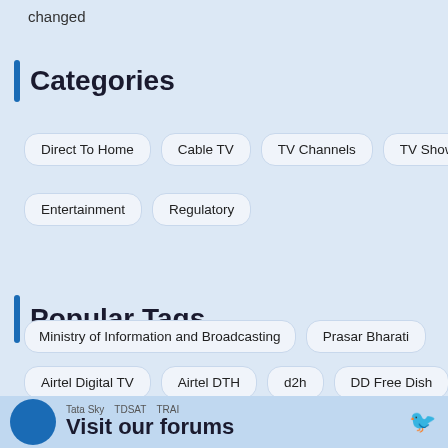changed
Categories
Direct To Home
Cable TV
TV Channels
TV Shows
Entertainment
Regulatory
Popular Tags
Airtel Digital TV
Airtel DTH
d2h
DD Free Dish
Dish TV
DTH
I&B Ministry
MIB
Ministry of Information and Broadcasting
Prasar Bharati
Tata Sky   TDSAT   TRAI
Visit our forums